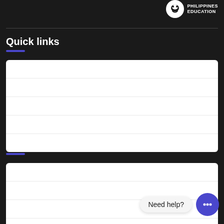[Figure (logo): Philippines Education logo with icon and text]
Quick links
[Figure (other): Quick links white content box with row dividers]
Useful links
[Figure (other): Useful links white content box with row dividers]
Need help?